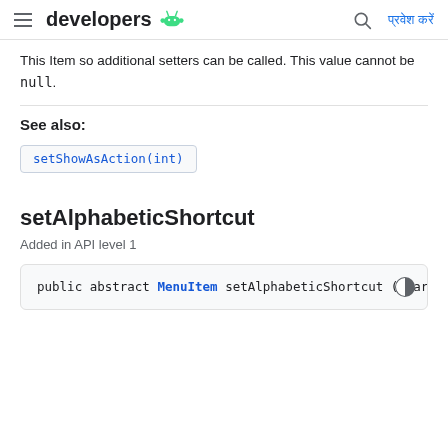developers [Android logo] [search] प्रवेश करें
This Item so additional setters can be called. This value cannot be null.
See also:
setShowAsAction(int)
setAlphabeticShortcut
Added in API level 1
public abstract MenuItem setAlphabeticShortcut (char